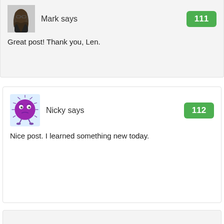Mark says
Great post! Thank you, Len.
Nicky says
Nice post. I learned something new today.